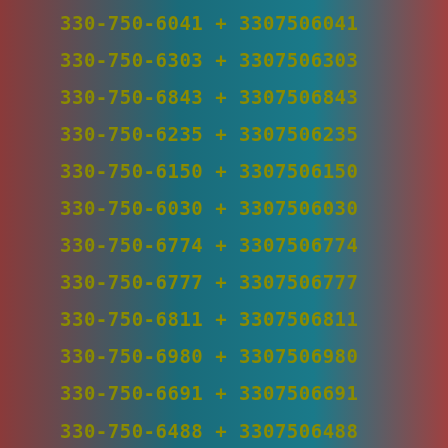| Formatted Number | Op | Numeric |
| --- | --- | --- |
| 330-750-6041 | + | 3307506041 |
| 330-750-6303 | + | 3307506303 |
| 330-750-6843 | + | 3307506843 |
| 330-750-6235 | + | 3307506235 |
| 330-750-6150 | + | 3307506150 |
| 330-750-6030 | + | 3307506030 |
| 330-750-6774 | + | 3307506774 |
| 330-750-6777 | + | 3307506777 |
| 330-750-6811 | + | 3307506811 |
| 330-750-6980 | + | 3307506980 |
| 330-750-6691 | + | 3307506691 |
| 330-750-6488 | + | 3307506488 |
| 330-750-6936 | + | 3307506936 |
| 330-750-6590 | + | 3307506590 |
| 330-750-6988 | + | 3307506988 |
| 330-750-6407 | + | 3307506407 |
| 330-750-6260 | + | 3307506260 |
| 330-750-6291 | + | 3307506291 |
| 330-750-6591 | + | 3307506591 |
| 330-750-6731 | + | 3307506731 |
| 330-750-6597 | + | 3307506597 |
| 330-750-6723 | + | 3307506723 |